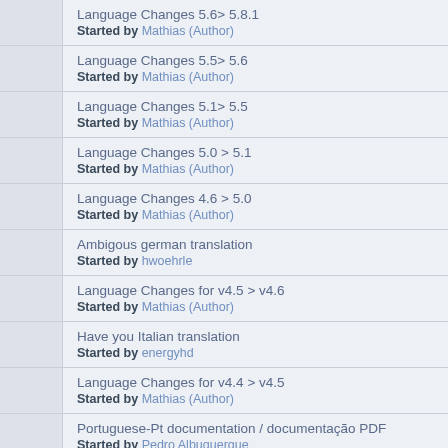Language Changes 5.6> 5.8.1
Started by Mathias (Author)
Language Changes 5.5> 5.6
Started by Mathias (Author)
Language Changes 5.1> 5.5
Started by Mathias (Author)
Language Changes 5.0 > 5.1
Started by Mathias (Author)
Language Changes 4.6 > 5.0
Started by Mathias (Author)
Ambigous german translation
Started by hwoehrle
Language Changes for v4.5 > v4.6
Started by Mathias (Author)
Have you Italian translation
Started by energyhd
Language Changes for v4.4 > v4.5
Started by Mathias (Author)
Portuguese-Pt documentation / documentação PDF
Started by Pedro Albuquerque
Language Changes for v4.3 > v4.4
Started by Mathias (Author)